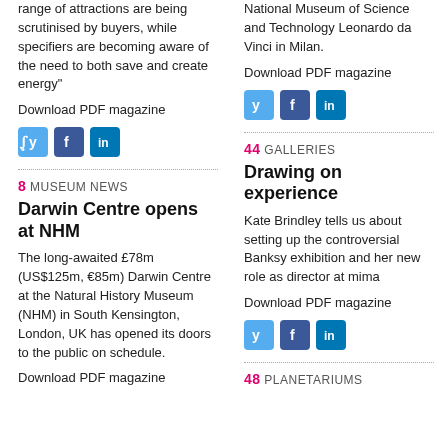range of attractions are being scrutinised by buyers, while specifiers are becoming aware of the need to both save and create energy"
Download PDF magazine
[Figure (other): Social media icons: Twitter, Facebook, LinkedIn]
8 MUSEUM NEWS
Darwin Centre opens at NHM
The long-awaited £78m (US$125m, €85m) Darwin Centre at the Natural History Museum (NHM) in South Kensington, London, UK has opened its doors to the public on schedule.
Download PDF magazine
National Museum of Science and Technology Leonardo da Vinci in Milan.
Download PDF magazine
[Figure (other): Social media icons: Twitter, Facebook, LinkedIn]
44 GALLERIES
Drawing on experience
Kate Brindley tells us about setting up the controversial Banksy exhibition and her new role as director at mima
Download PDF magazine
[Figure (other): Social media icons: Twitter, Facebook, LinkedIn]
48 PLANETARIUMS